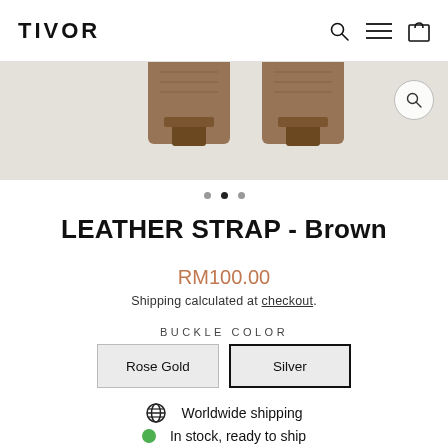TIVOR
[Figure (photo): Product image strip showing brown leather straps, partially cropped at top]
LEATHER STRAP - Brown
RM100.00
Shipping calculated at checkout.
BUCKLE COLOR
Rose Gold | Silver
Worldwide shipping
In stock, ready to ship